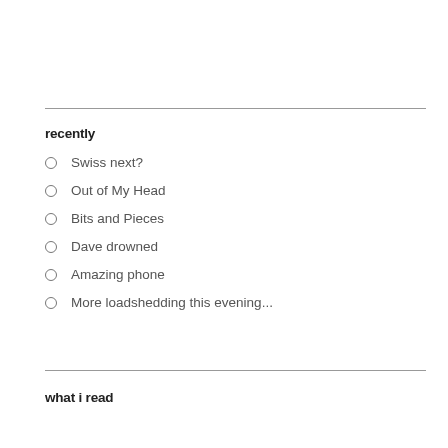recently
Swiss next?
Out of My Head
Bits and Pieces
Dave drowned
Amazing phone
More loadshedding this evening...
what i read